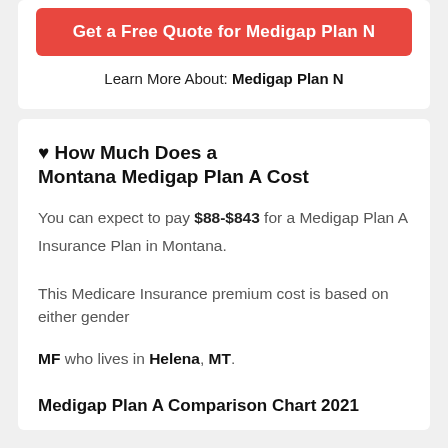Get a Free Quote for Medigap Plan N
Learn More About: Medigap Plan N
❤ How Much Does a Montana Medigap Plan A Cost
You can expect to pay $88-$843 for a Medigap Plan A Insurance Plan in Montana.
This Medicare Insurance premium cost is based on either gender
MF who lives in Helena, MT.
Medigap Plan A Comparison Chart 2021